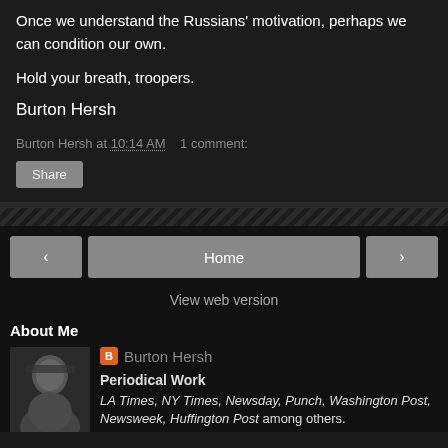Once we understand the Russians' motivation, perhaps we can condition our own.
Hold your breath, troopers.
Burton Hersh
Burton Hersh at 10:14 AM   1 comment:
Share
Home
View web version
About Me
Burton Hersh
Periodical Work
LA Times, NY Times, Newsday, Punch, Washington Post, Newsweek, Huffington Post among others.